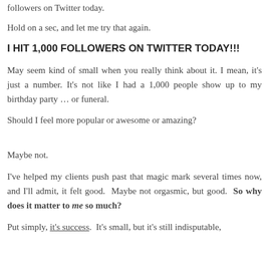followers on Twitter today.
Hold on a sec, and let me try that again.
I HIT 1,000 FOLLOWERS ON TWITTER TODAY!!!
May seem kind of small when you really think about it. I mean, it's just a number. It's not like I had a 1,000 people show up to my birthday party … or funeral.
Should I feel more popular or awesome or amazing?
Maybe not.
I've helped my clients push past that magic mark several times now, and I'll admit, it felt good. Maybe not orgasmic, but good. So why does it matter to me so much?
Put simply, it's success. It's small, but it's still indisputable,